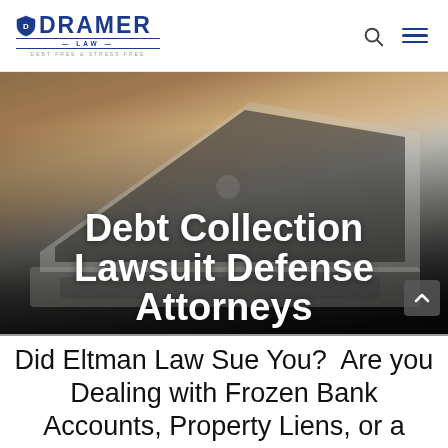DRAMER LAW — DEBT FREE & STRESS FREE
[Figure (photo): Photo of a silver MacBook laptop on a wooden desk, partially open, with a mouse visible to the right. The image has a dark gradient overlay at the bottom where large white bold text reads 'Debt Collection Lawsuit Defense Attorneys'.]
Debt Collection Lawsuit Defense Attorneys
Did Eltman Law Sue You?  Are you Dealing with Frozen Bank Accounts, Property Liens, or a